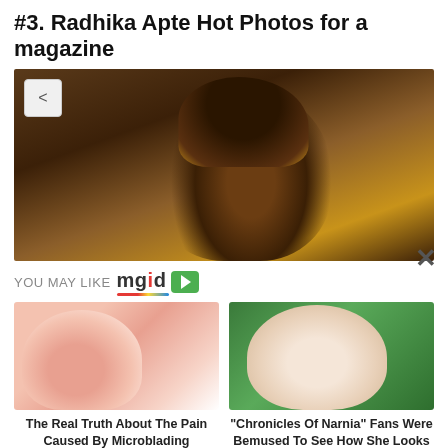#3. Radhika Apte Hot Photos for a magazine
[Figure (photo): Close-up photo of a woman (Radhika Apte) with curly hair pulled up, dramatic lighting with warm tones, looking intensely at camera]
YOU MAY LIKE mgid ▶
[Figure (photo): Photo of a person's face with microblading procedure being performed with tweezers]
The Real Truth About The Pain Caused By Microblading
[Figure (photo): Photo of a young girl wearing a tiara/crown, smiling, from Chronicles of Narnia]
"Chronicles Of Narnia" Fans Were Bemused To See How She Looks Now